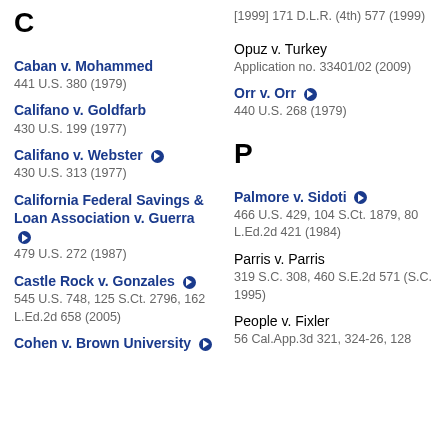C
Caban v. Mohammed
441 U.S. 380 (1979)
Califano v. Goldfarb
430 U.S. 199 (1977)
Califano v. Webster
430 U.S. 313 (1977)
California Federal Savings & Loan Association v. Guerra
479 U.S. 272 (1987)
Castle Rock v. Gonzales
545 U.S. 748, 125 S.Ct. 2796, 162 L.Ed.2d 658 (2005)
Cohen v. Brown University
[1999] 171 D.L.R. (4th) 577 (1999)
Opuz v. Turkey
Application no. 33401/02 (2009)
Orr v. Orr
440 U.S. 268 (1979)
P
Palmore v. Sidoti
466 U.S. 429, 104 S.Ct. 1879, 80 L.Ed.2d 421 (1984)
Parris v. Parris
319 S.C. 308, 460 S.E.2d 571 (S.C. 1995)
People v. Fixler
56 Cal.App.3d 321, 324-26, 128